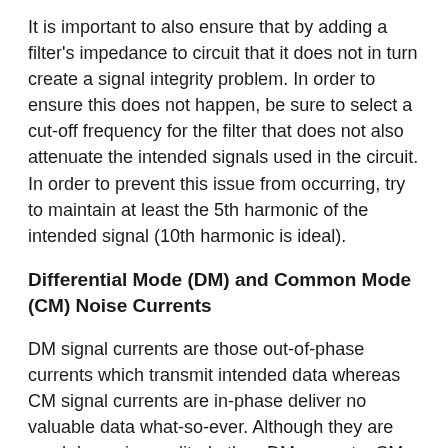It is important to also ensure that by adding a filter's impedance to circuit that it does not in turn create a signal integrity problem. In order to ensure this does not happen, be sure to select a cut-off frequency for the filter that does not also attenuate the intended signals used in the circuit. In order to prevent this issue from occurring, try to maintain at least the 5th harmonic of the intended signal (10th harmonic is ideal).
Differential Mode (DM) and Common Mode (CM) Noise Currents
DM signal currents are those out-of-phase currents which transmit intended data whereas CM signal currents are in-phase deliver no valuable data what-so-ever. Although they are much lower in amplitude than DM currents, CM currents are the main causes of regulatory radiated and conducted emissions testing issues.